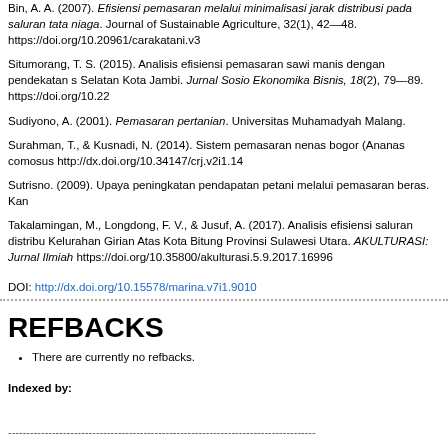Bin, A. A. (2007). Efisiensi pemasaran melalui minimalisasi jarak distribusi pada saluran tata niaga. Journal of Sustainable Agriculture, 32(1), 42—48. https://doi.org/10.20961/carakatani.v3
Situmorang, T. S. (2015). Analisis efisiensi pemasaran sawi manis dengan pendekatan s... Selatan Kota Jambi. Jurnal Sosio Ekonomika Bisnis, 18(2), 79—89. https://doi.org/10.22
Sudiyono, A. (2001). Pemasaran pertanian. Universitas Muhamadyah Malang.
Surahman, T., & Kusnadi, N. (2014). Sistem pemasaran nenas bogor (Ananas comosus... http://dx.doi.org/10.34147/crj.v2i1.14
Sutrisno. (2009). Upaya peningkatan pendapatan petani melalui pemasaran beras. Kan...
Takalamingan, M., Longdong, F. V., & Jusuf, A. (2017). Analisis efisiensi saluran distribu... Kelurahan Girian Atas Kota Bitung Provinsi Sulawesi Utara. AKULTURASI: Jurnal Ilmiah... https://doi.org/10.35800/akulturasi.5.9.2017.16996
DOI: http://dx.doi.org/10.15578/marina.v7i1.9010
REFBACKS
There are currently no refbacks.
Indexed by:
------------------------------------------------------------------------------------
Published by